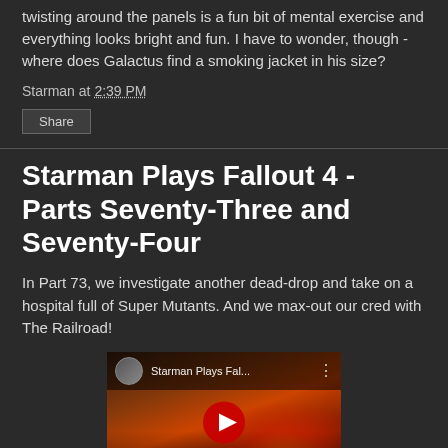twisting around the panels is a fun bit of mental exercise and everything looks bright and fun. I have to wonder, though - where does Galactus find a smoking jacket in his size?
Starman at 2:39 PM
Share
Starman Plays Fallout 4 - Parts Seventy-Three and Seventy-Four
In Part 73, we investigate another dead-drop and take on a hospital full of Super Mutants. And we max-out our cred with The Railroad!
[Figure (screenshot): YouTube video thumbnail showing 'Starman Plays Fal...' with a fire/combat scene from Fallout 4 and a red play button overlay]